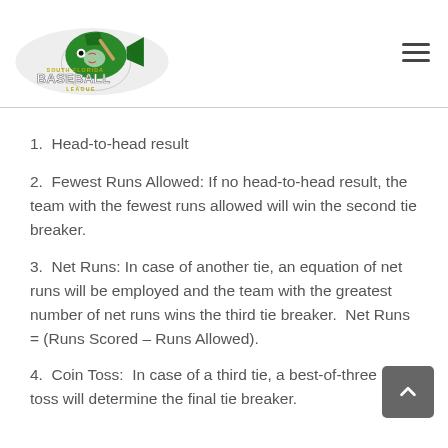South Florida Baseball League
1.  Head-to-head result
2.  Fewest Runs Allowed: If no head-to-head result, the team with the fewest runs allowed will win the second tie breaker.
3.  Net Runs: In case of another tie, an equation of net runs will be employed and the team with the greatest number of net runs wins the third tie breaker.  Net Runs = (Runs Scored – Runs Allowed).
4.  Coin Toss:  In case of a third tie, a best-of-three coin toss will determine the final tie breaker.